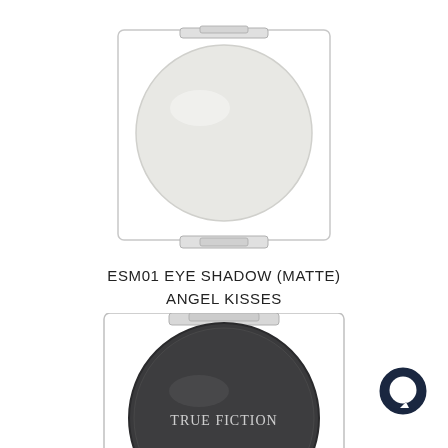[Figure (photo): White/off-white matte eye shadow in a clear square compact, viewed from above. The shadow pan is a large circle with a pale grey-white color.]
ESM01 EYE SHADOW (MATTE)
ANGEL KISSES
$9.00 CAD
[Figure (photo): Dark charcoal/black matte eye shadow in a clear square compact with 'TRUE FICTION' text on the pan, partially cropped at bottom of image.]
[Figure (illustration): Dark navy blue circular chat/message bubble icon in the bottom right corner.]